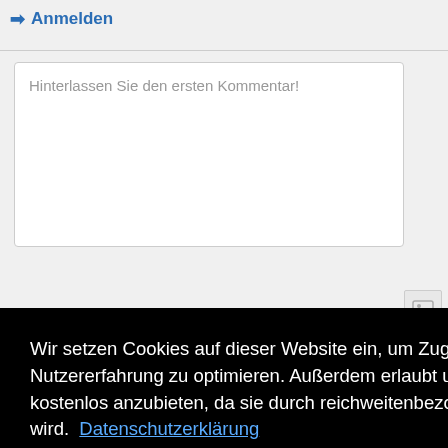Anmelden
Hinterlassen Sie den ersten Kommentar!
Wir setzen Cookies auf dieser Website ein, um Zugriffe darauf zu analysieren und Ihre Nutzererfahrung zu optimieren. Außerdem erlaubt uns der Einsatz von Cookies diese Seite kostenlos anzubieten, da sie durch reichweitenbezogene Werbeeinschaltungen finanziert wird.  Datenschutzerklärung
OK